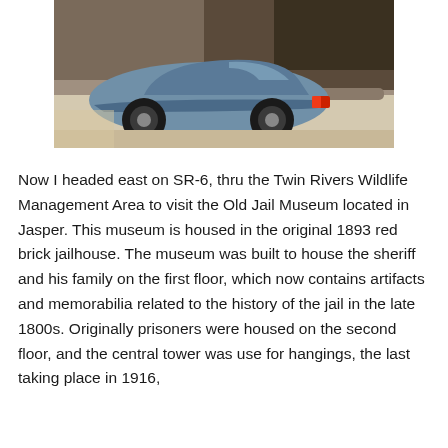[Figure (photo): Rear view of a blue Toyota Prius in a parking lot or roadway area, taken from behind-left angle, with building structures visible in the background.]
Now I headed east on SR-6, thru the Twin Rivers Wildlife Management Area to visit the Old Jail Museum located in Jasper.  This museum is housed in the original 1893 red brick jailhouse.  The museum was built to house the sheriff and his family on the first floor, which now contains artifacts and memorabilia related to the history of the jail in the late 1800s.  Originally prisoners were housed on the second floor, and the central tower was use for hangings, the last taking place in 1916,